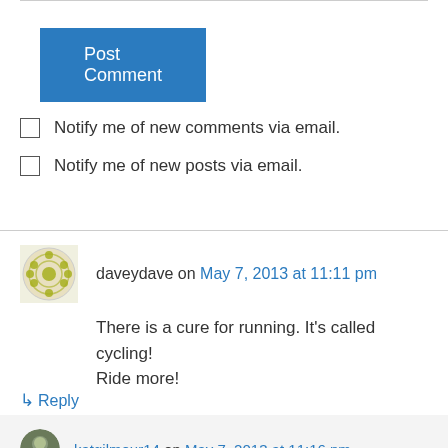[Figure (other): Post Comment button, blue background with white text]
Notify me of new comments via email.
Notify me of new posts via email.
daveydave on May 7, 2013 at 11:11 pm
There is a cure for running. It's called cycling! Ride more!
↳ Reply
katgilmour14 on May 7, 2013 at 11:16 pm
Yeahhh... good plan. Except that a Triathlon